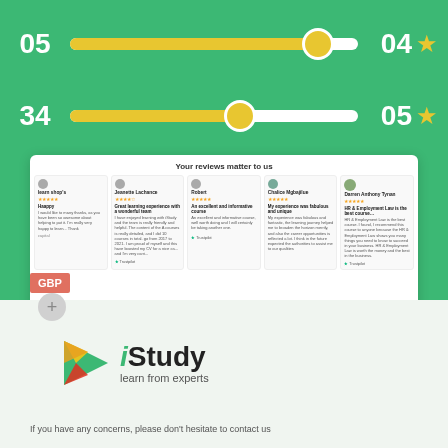[Figure (infographic): Green background section with two slider/rating rows. Row 1: number 05 on left, yellow filled slider track with thumb near right end, number 04 and star on right. Row 2: number 34 on left, yellow filled slider track with thumb in middle, number 05 and star on right.]
[Figure (screenshot): White card showing customer review panel with heading 'Your reviews matter to us', five reviewer columns with names, star ratings, review titles and body text, plus a Trustpilot badge. A dark overlay button reads 'View More Reviews'. GBP label and plus button visible on left edge.]
[Figure (logo): iStudy logo: triangular play-button icon in green/yellow/red, followed by 'iStudy' text in bold with green italic 'i', and 'learn from experts' subtitle.]
If you have any concerns, please don't hesitate to contact us